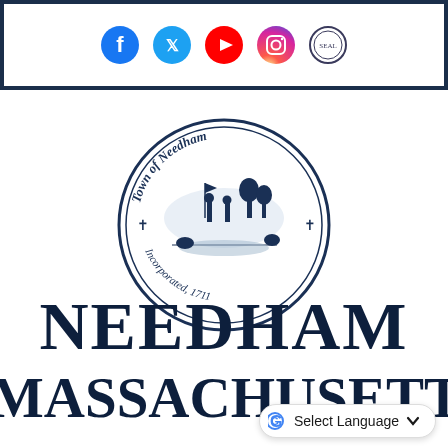[Figure (other): Social media icons row: Facebook (blue circle), Twitter (blue bird), YouTube (red), Instagram (gradient), and a circular seal/emblem, displayed in a bordered header bar]
[Figure (logo): Town of Needham official circular seal in dark navy blue. Features text 'Town of Needham' at top and 'Incorporated 1711' at bottom, with a central scene depicting figures and landscape.]
NEEDHAM MASSACHUSETTS